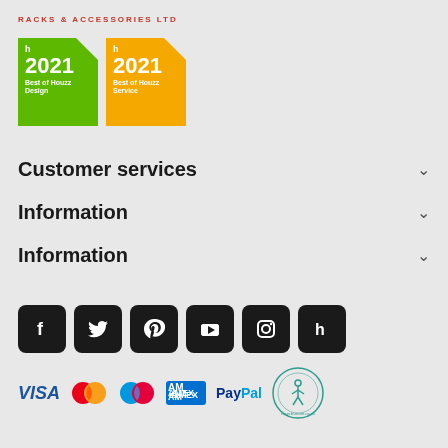RACKS & ACCESSORIES LTD
[Figure (logo): Two Houzz Best of 2021 badges - green Design badge and yellow Service badge]
Customer services
Information
Information
[Figure (infographic): Social media icons: Facebook, Twitter, Pinterest, YouTube, Instagram, Houzz]
[Figure (infographic): Payment method logos: VISA, Mastercard, Maestro, American Express, PayPal, Recycle-more logo]